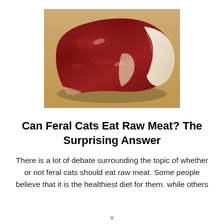[Figure (photo): A raw beef steak (appears to be a sirloin or strip steak) with visible marbling, red meat, and a strip of fat along one edge, placed on a wooden cutting board surface.]
Can Feral Cats Eat Raw Meat? The Surprising Answer
There is a lot of debate surrounding the topic of whether or not feral cats should eat raw meat. Some people believe that it is the healthiest diet for them. while others
v